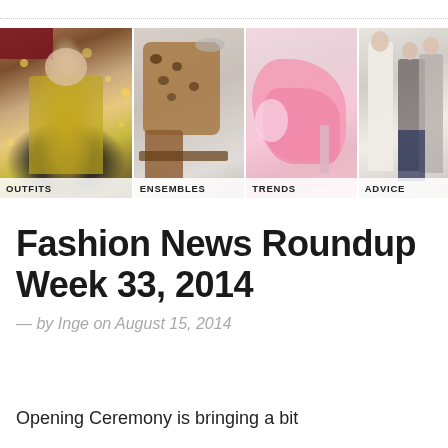[Figure (photo): Fashion blog navigation header with four photo panels labeled OUTFITS, ENSEMBLES, TRENDS, ADVICE. First panel shows woman in yellow coat on street, second shows leopard sweater and brown boots ensemble, third shows pink mule heels, fourth shows fashion models in white and grey outfits.]
Fashion News Roundup Week 33, 2014
— by Inge on August 15, 2014
Opening Ceremony is bringing a bit